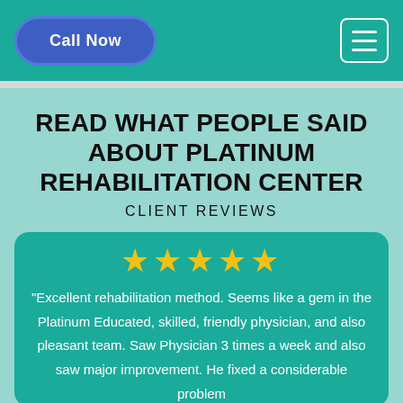Call Now | [hamburger menu]
READ WHAT PEOPLE SAID ABOUT PLATINUM REHABILITATION CENTER
CLIENT REVIEWS
★★★★★ "Excellent rehabilitation method. Seems like a gem in the Platinum Educated, skilled, friendly physician, and also pleasant team. Saw Physician 3 times a week and also saw major improvement. He fixed a considerable problem